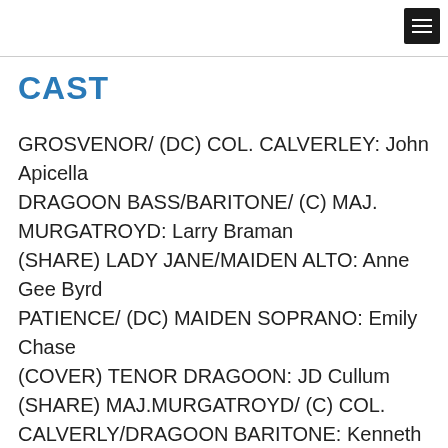CAST
GROSVENOR/ (DC) COL. CALVERLEY: John Apicella
DRAGOON BASS/BARITONE/ (C) MAJ. MURGATROYD: Larry Braman
(SHARE) LADY JANE/MAIDEN ALTO: Anne Gee Byrd
PATIENCE/ (DC) MAIDEN SOPRANO: Emily Chase
(COVER) TENOR DRAGOON: JD Cullum
(SHARE) MAJ.MURGATROYD/ (C) COL. CALVERLY/DRAGOON BARITONE: Kenneth Danziger